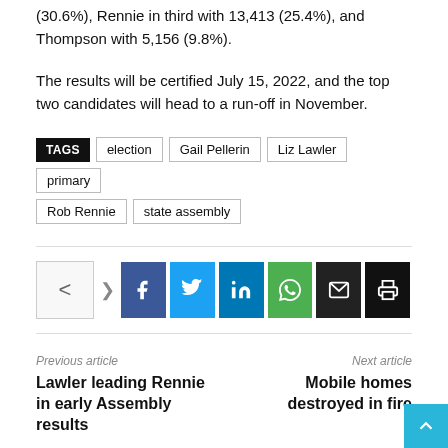(30.6%), Rennie in third with 13,413 (25.4%), and Thompson with 5,156 (9.8%).
The results will be certified July 15, 2022, and the top two candidates will head to a run-off in November.
TAGS  election  Gail Pellerin  Liz Lawler  primary  Rob Rennie  state assembly
[Figure (infographic): Social share bar with share icon, Facebook, Twitter, LinkedIn, WhatsApp, email, and print buttons]
Previous article: Lawler leading Rennie in early Assembly results | Next article: Mobile homes destroyed in fire